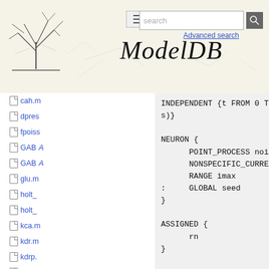[Figure (screenshot): ModelDB website header with tree logo, hamburger menu, search box, and cursive ModelDB title]
cah.m
dpres
fpoiss
GABA
GABA
glu.m
holt_
holt_
kca.m
kdr.m
kdrp.
na.m
nap.m
NMD
noise
INDEPENDENT {t FROM 0 TO 1 WITH 1 (ms)}

NEURON {
        POINT_PROCESS noise
        NONSPECIFIC_CURRENT i
        RANGE imax
:       GLOBAL seed
}

ASSIGNED {
        rn
}

UNITS {
        (nA) = (nanoamp)
}

PARAMETER {
        imax=1            (umho)